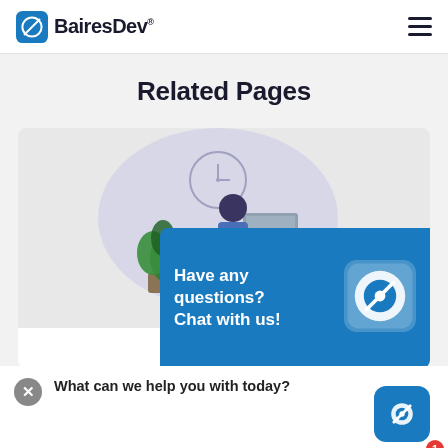[Figure (logo): BairesDev logo with circular icon and company name in dark text]
Related Pages
[Figure (illustration): Person sitting at a desk working at a computer with a green plant and wall clock, abstract blob background]
Have any questions? Chat with us!
What can we help you with today?
By continuin